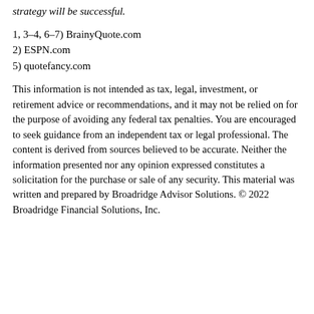strategy will be successful.
1, 3–4, 6–7) BrainyQuote.com
2) ESPN.com
5) quotefancy.com
This information is not intended as tax, legal, investment, or retirement advice or recommendations, and it may not be relied on for the purpose of avoiding any federal tax penalties. You are encouraged to seek guidance from an independent tax or legal professional. The content is derived from sources believed to be accurate. Neither the information presented nor any opinion expressed constitutes a solicitation for the purchase or sale of any security. This material was written and prepared by Broadridge Advisor Solutions. © 2022 Broadridge Financial Solutions, Inc.